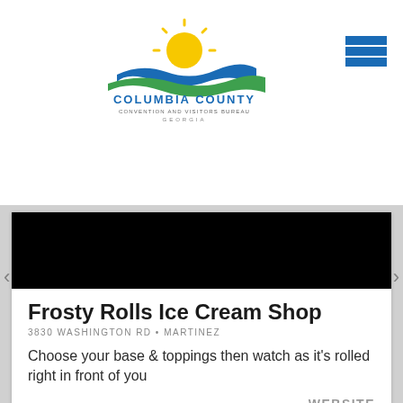[Figure (logo): Columbia County Convention and Visitors Bureau Georgia logo with sun, water wave, and text]
[Figure (other): Hamburger menu icon with three blue horizontal bars]
[Figure (photo): Black image area (Frosty Rolls Ice Cream Shop photo)]
Frosty Rolls Ice Cream Shop
3830 WASHINGTON RD • MARTINEZ
Choose your base & toppings then watch as it's rolled right in front of you
WEBSITE
[Figure (photo): Food photo showing a stir-fry dish with vegetables, chicken, and fried rice on a plate]